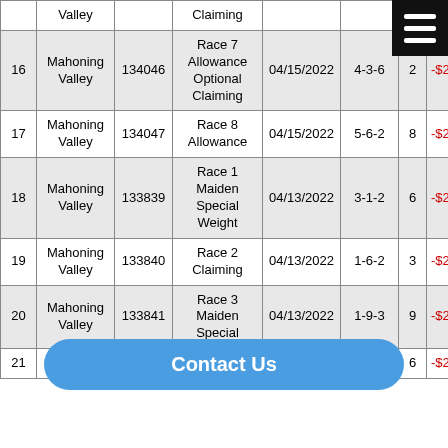| # | Track | ID | Race | Date | Pos | Cnt | Amt |
| --- | --- | --- | --- | --- | --- | --- | --- |
|  | Valley |  | Claiming |  |  |  | -$2. |
| 16 | Mahoning Valley | 134046 | Race 7 Allowance Optional Claiming | 04/15/2022 | 4-3-6 | 2 | -$2. |
| 17 | Mahoning Valley | 134047 | Race 8 Allowance | 04/15/2022 | 5-6-2 | 8 | -$2. |
| 18 | Mahoning Valley | 133839 | Race 1 Maiden Special Weight | 04/13/2022 | 3-1-2 | 6 | -$2. |
| 19 | Mahoning Valley | 133840 | Race 2 Claiming | 04/13/2022 | 1-6-2 | 3 | -$2. |
| 20 | Mahoning Valley | 133841 | Race 3 Maiden Special | 04/13/2022 | 1-9-3 | 9 | -$2. |
| 21 | Valley | 133842 | Claiming | 04/13/2022 | 3-3 | 6 | -$2. |